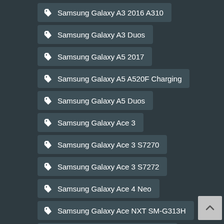Samsung Galaxy A3 2016 A310
Samsung Galaxy A3 Duos
Samsung Galaxy A5 2017
Samsung Galaxy A5 A520F Charging
Samsung Galaxy A5 Duos
Samsung Galaxy Ace 3
Samsung Galaxy Ace 3 S7270
Samsung Galaxy Ace 3 S7272
Samsung Galaxy Ace 4 Neo
Samsung Galaxy Ace NXT SM-G313H
Samsung Galaxy Ace Plus S7500
Samsung Galaxy Alpha G850
Samsung Galaxy Alpha G850F